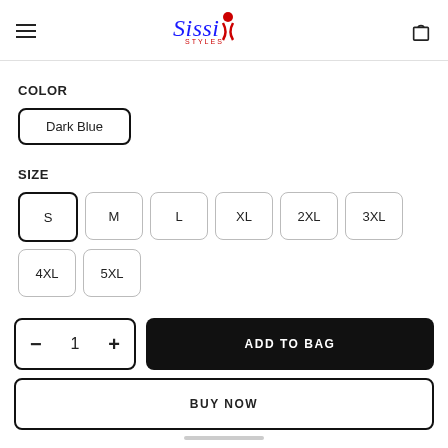Sissi Styles — navigation header with hamburger menu and bag icon
COLOR
Dark Blue
SIZE
S
M
L
XL
2XL
3XL
4XL
5XL
- 1 + ADD TO BAG
BUY NOW